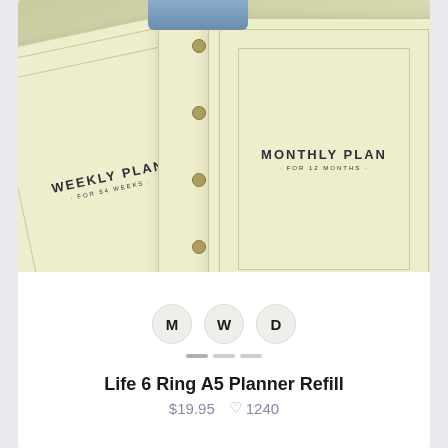[Figure (photo): Product photo showing two cream/yellow planner refill pages — one labeled 'WEEKLY PLAN · FOR 54 WEEKS ·' and another labeled 'MONTHLY PLAN · FOR 12 MONTHS ·' — arranged with a blue binder spine and ring binding mechanism visible, against a warm beige-green background.]
M  W  D
Life 6 Ring A5 Planner Refill
$19.95  ♡1240